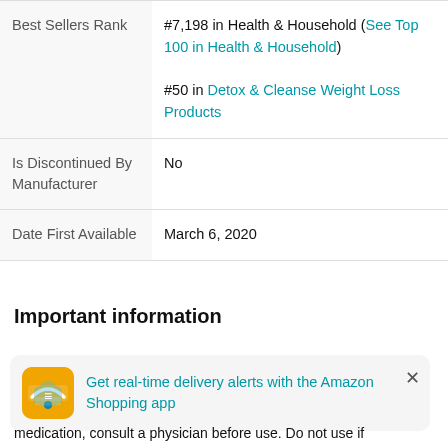| Field | Value |
| --- | --- |
| Best Sellers Rank | #7,198 in Health & Household (See Top 100 in Health & Household)
#50 in Detox & Cleanse Weight Loss Products |
| Is Discontinued By Manufacturer | No |
| Date First Available | March 6, 2020 |
Important information
[Figure (infographic): Amazon app notification banner: Get real-time delivery alerts with the Amazon Shopping app]
medication, consult a physician before use. Do not use if